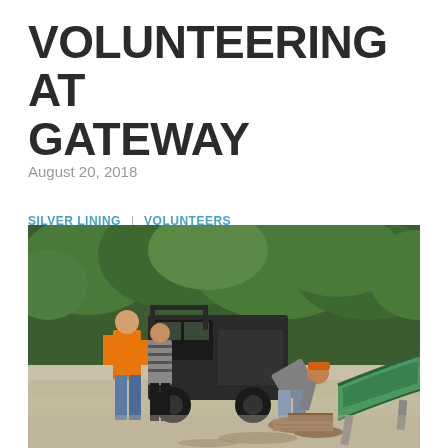VOLUNTEERING AT GATEWAY
August 20, 2018
SILVER LINING  |  VOLUNTEERS
[Figure (photo): Three people working outdoors near a utility vehicle and a green canoe. One person in an orange shirt, one in a striped shirt, and one bending over wood logs. Green trees in background.]